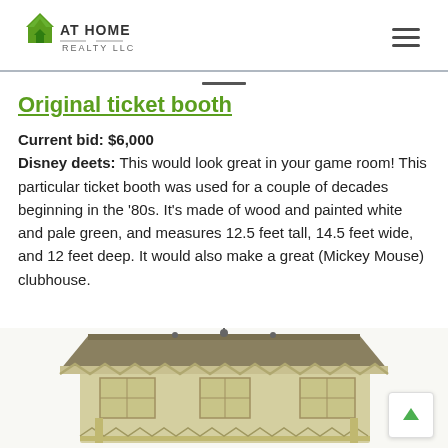AT HOME REALTY LLC
Original ticket booth
Current bid: $6,000
Disney deets: This would look great in your game room! This particular ticket booth was used for a couple of decades beginning in the '80s. It's made of wood and painted white and pale green, and measures 12.5 feet tall, 14.5 feet wide, and 12 feet deep. It would also make a great (Mickey Mouse) clubhouse.
[Figure (photo): Photo of an original Disney ticket booth structure, painted pale green/cream with decorative Victorian-style details, gabled roof with ornamental trim.]